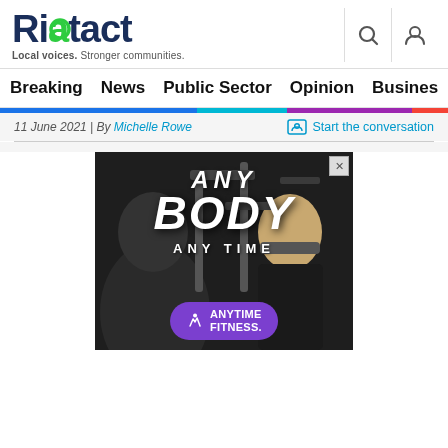Riotact — Local voices. Stronger communities.
Breaking | News | Public Sector | Opinion | Business | R...
11 June 2021 | By Michelle Rowe   Start the conversation
[Figure (photo): Anytime Fitness advertisement banner showing gym scene with woman working out and text 'ANY BODY ANY TIME' with Anytime Fitness logo in purple pill shape]